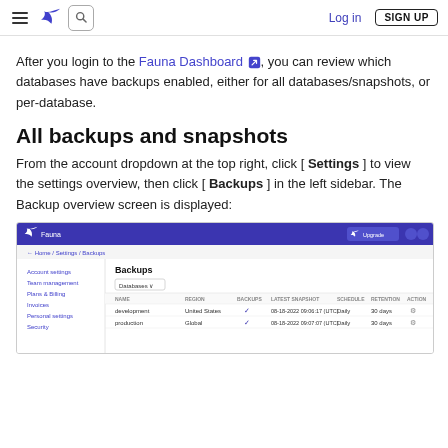Fauna navigation bar with logo, search, Log in, SIGN UP
After you login to the Fauna Dashboard , you can review which databases have backups enabled, either for all databases/snapshots, or per-database.
All backups and snapshots
From the account dropdown at the top right, click [ Settings ] to view the settings overview, then click [ Backups ] in the left sidebar. The Backup overview screen is displayed:
[Figure (screenshot): Fauna Dashboard screenshot showing Backups settings page with sidebar navigation (Account settings, Team management, Plans & Billing, Invoices, Personal settings, Security) and a Backups table with columns: NAME, REGION, BACKUPS, LATEST SNAPSHOT, SCHEDULE, RETENTION, ACTION. Rows show 'development' (United States, checkmark, 08-18-2022 09:06:17 UTC, Daily, 30 days) and 'production' (Global, checkmark, 08-18-2022 09:07:07 UTC, Daily, 30 days).]